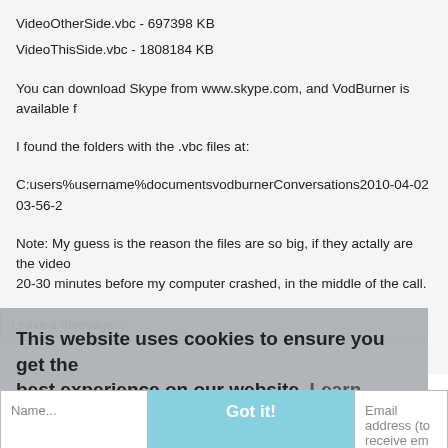VideoOtherSide.vbc - 697398 KB
VideoThisSide.vbc - 1808184 KB
You can download Skype from www.skype.com, and VodBurner is available f…
I found the folders with the .vbc files at:
C:users%username%documentsvodburnerConversations2010-04-02 03-56-2…
Note: My guess is the reason the files are so big, if they actally are the video… 20-30 minutes before my computer crashed, in the middle of the call.
Leave a message...
This website uses cookies to ensure you get the best experience on our website. Learn more
Name...
Got it!
Email address (to receive em…